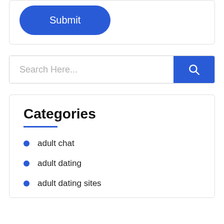[Figure (screenshot): A blue rounded rectangle Submit button on a white card with light border]
[Figure (screenshot): Search bar with placeholder text 'Search Here...' and a blue search button with magnifying glass icon on the right]
Categories
adult chat
adult dating
adult dating sites